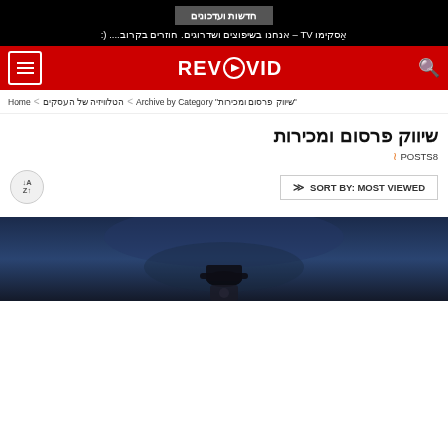חדשות ועדכונים
אֵסקימו TV – אנחנו בשיפוצים ושדרוגים. חוזרים בקרוב.... (:
[Figure (logo): VidoRev logo on red background with search icon and hamburger menu]
Home < הטלוויזיה של העסקים < Archive by Category "שיווק פרסום ומכירות"
שיווק פרסום ומכירות
POSTS8
SORT BY: MOST VIEWED
[Figure (photo): Dark blue background with a person wearing a hat and holding a camera, partially visible at the bottom of the page]